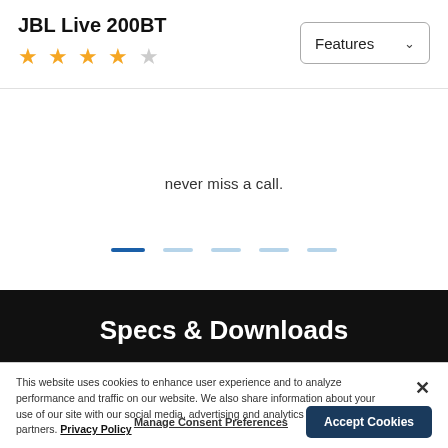JBL Live 200BT ★★★★☆
never miss a call.
[Figure (other): Carousel navigation dots: one active blue dot and four lighter inactive dots]
Specs & Downloads
This website uses cookies to enhance user experience and to analyze performance and traffic on our website. We also share information about your use of our site with our social media, advertising and analytics partners. Privacy Policy
Manage Consent Preferences
Accept Cookies